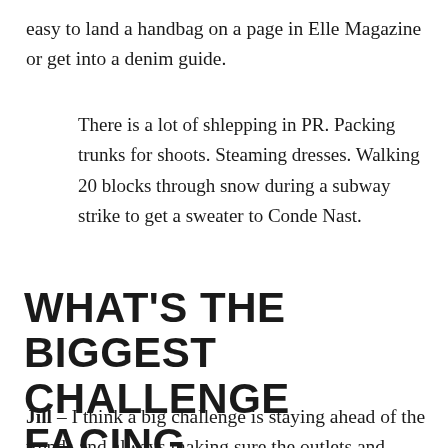easy to land a handbag on a page in Elle Magazine or get into a denim guide.
There is a lot of shlepping in PR. Packing trunks for shoots. Steaming dresses. Walking 20 blocks through snow during a subway strike to get a sweater to Conde Nast.
WHAT'S THE BIGGEST CHALLENGE FACING COMMUNICATORS RIGHT NOW?
Jill – I think a big challenge is staying ahead of the trends and always making sure the outlets and